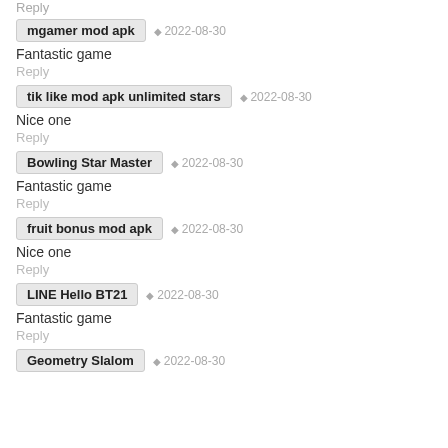Reply
mgamer mod apk · 2022-08-30
Fantastic game
Reply
tik like mod apk unlimited stars · 2022-08-30
Nice one
Reply
Bowling Star Master · 2022-08-30
Fantastic game
Reply
fruit bonus mod apk · 2022-08-30
Nice one
Reply
LINE Hello BT21 · 2022-08-30
Fantastic game
Reply
Geometry Slalom · 2022-08-30